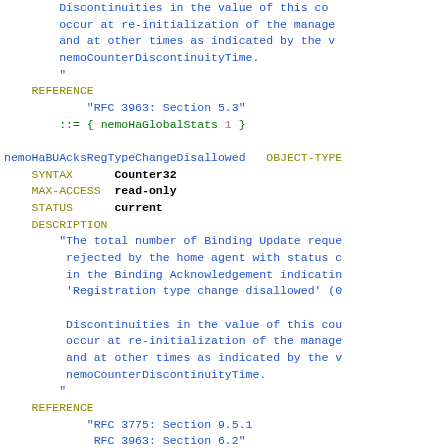MIB/SNMP object definitions code block showing nemoHaBUAcksRegTypeChangeDisallowed OBJECT-TYPE and nemoHaBUAcksOperationNotPermitted OBJECT-TYPE definitions